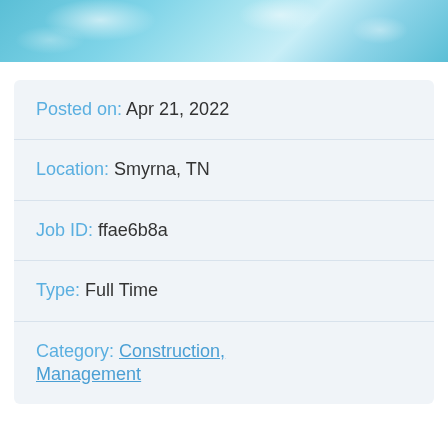[Figure (photo): Blue teal water/ice texture banner image at the top of the page]
Posted on: Apr 21, 2022
Location: Smyrna, TN
Job ID: ffae6b8a
Type: Full Time
Category: Construction, Management